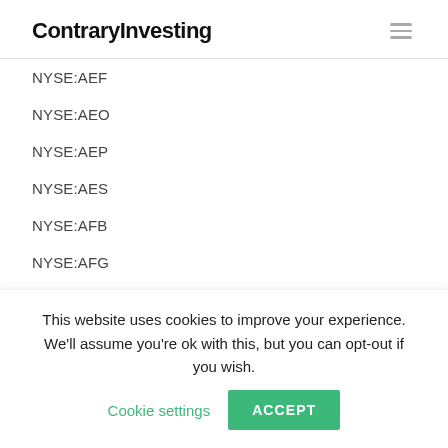ContraryInvesting
NYSE:AEF
NYSE:AEO
NYSE:AEP
NYSE:AES
NYSE:AFB
NYSE:AFG
NYSE:AFL
NYSE:AGD
NYSE:AGG
This website uses cookies to improve your experience. We'll assume you're ok with this, but you can opt-out if you wish. Cookie settings ACCEPT